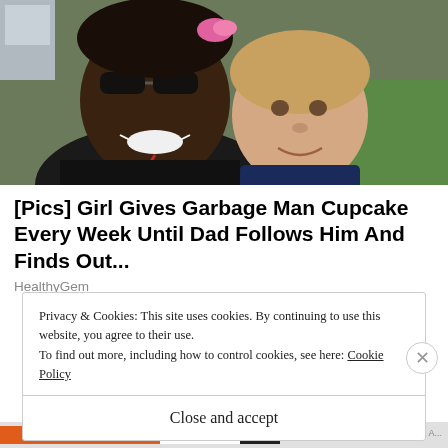[Figure (photo): Photo of a smiling man with sunglasses and a young girl with a pink bow in her hair, outdoors with green grass in background]
[Pics] Girl Gives Garbage Man Cupcake Every Week Until Dad Follows Him And Finds Out...
HealthyGem
Privacy & Cookies: This site uses cookies. By continuing to use this website, you agree to their use.
To find out more, including how to control cookies, see here: Cookie Policy
Close and accept